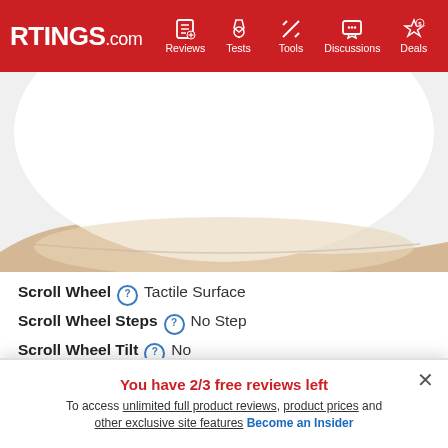RTINGS.com — Reviews, Tests, Tools, Discussions, Deals
[Figure (photo): Close-up photo of an Apple Magic Mouse from above, showing its smooth white curved surface resting on a light wood-colored surface. The bottom edge and beige underside are visible at the lower portion of the image.]
Scroll Wheel ? Tactile Surface
Scroll Wheel Steps ? No Step
Scroll Wheel Tilt ? No
Thumb Wheel ? Tactile Surface
Thumb Wheel Steps ? No Thumb Wheel
While there is no physical scroll wheel, the touch-sensitive surface of the mouse serves as one, allowing both vertical as well as horizontal scrolling
You have 2/3 free reviews left
To access unlimited full product reviews, product prices and other exclusive site features Become an Insider